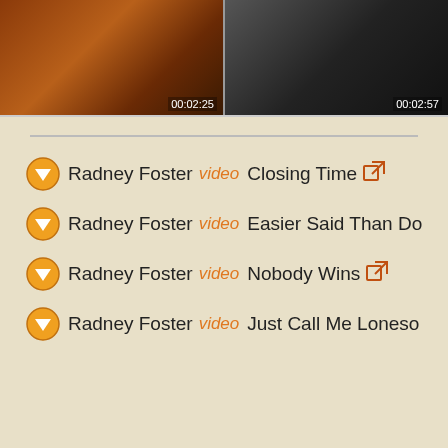[Figure (screenshot): Two video thumbnail images side by side. Left thumbnail shows an orange/brown toned scene with timestamp 00:02:25. Right thumbnail shows a black and white scene with timestamp 00:02:57.]
Radney Foster video Closing Time
Radney Foster video Easier Said Than Do
Radney Foster video Nobody Wins
Radney Foster video Just Call Me Loneso